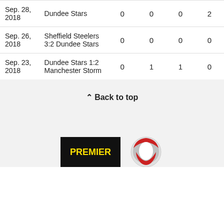| Date | Match | Col1 | Col2 | Col3 | Col4 |
| --- | --- | --- | --- | --- | --- |
| Sep. 28, 2018 | Dundee Stars | 0 | 0 | 0 | 2 |
| Sep. 26, 2018 | Sheffield Steelers 3:2 Dundee Stars | 0 | 0 | 0 | 0 |
| Sep. 23, 2018 | Dundee Stars 1:2 Manchester Storm | 0 | 1 | 1 | 0 |
↑ Back to top
[Figure (logo): Premier Sports logo - black background with yellow PREMIER text]
[Figure (logo): Bird logo - circular red and white bird/penguin icon]